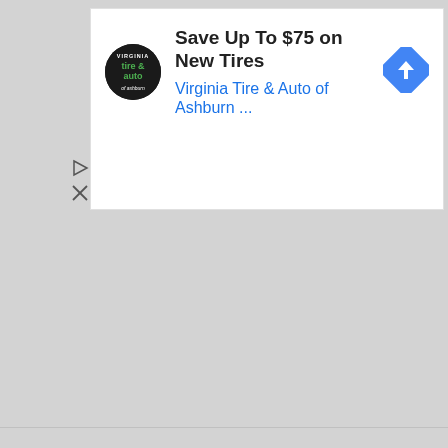[Figure (screenshot): A Google display advertisement for Virginia Tire & Auto of Ashburn. Shows a black circular logo with green 'tire & auto' text, headline 'Save Up To $75 on New Tires', subtext 'Virginia Tire & Auto of Ashburn ...' in blue, and a blue diamond navigation arrow icon. Below the ad are small close/report ad control icons. The rest of the page is light gray background.]